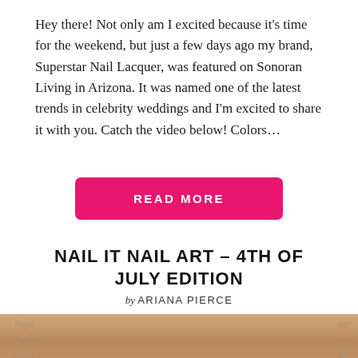Hey there! Not only am I excited because it's time for the weekend, but just a few days ago my brand, Superstar Nail Lacquer, was featured on Sonoran Living in Arizona. It was named one of the latest trends in celebrity weddings and I'm excited to share it with you. Catch the video below! Colors…
READ MORE
NAIL IT NAIL ART – 4TH OF JULY EDITION
by ARIANA PIERCE
[Figure (photo): Close-up photo of a hand with painted nails over Superstar Nail Lacquer branded packaging background]